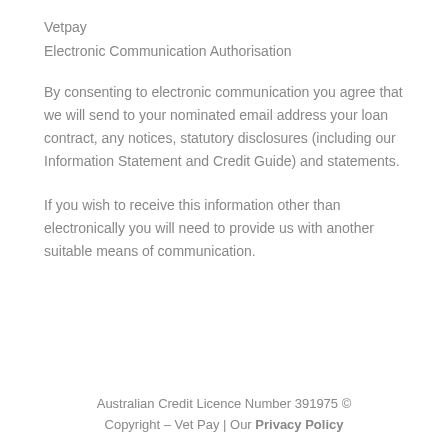Vetpay
Electronic Communication Authorisation
By consenting to electronic communication you agree that we will send to your nominated email address your loan contract, any notices, statutory disclosures (including our Information Statement and Credit Guide) and statements.
If you wish to receive this information other than electronically you will need to provide us with another suitable means of communication.
Australian Credit Licence Number 391975 © Copyright – Vet Pay | Our Privacy Policy